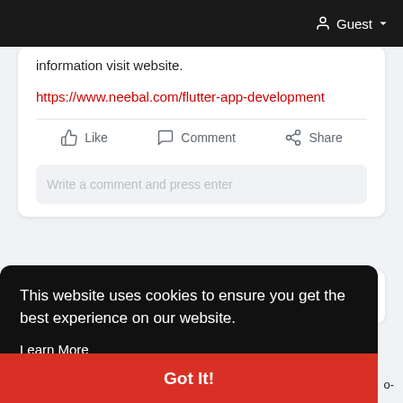Guest
information visit website.
https://www.neebal.com/flutter-app-development
Like   Comment   Share
Write a comment and press enter
This website uses cookies to ensure you get the best experience on our website.
Learn More
Got It!
intending to acquire or enhance the ability to analyze